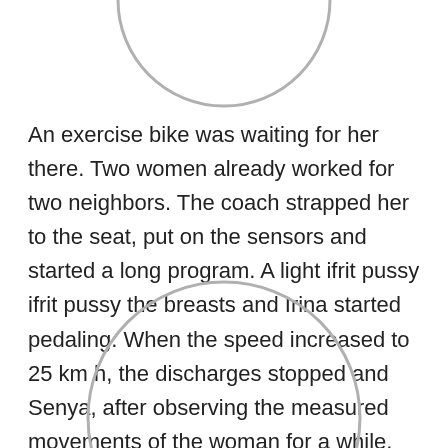[Figure (illustration): Partial circle shape visible at the top of the page, cropped, gray outline only]
An exercise bike was waiting for her there. Two women already worked for two neighbors. The coach strapped her to the seat, put on the sensors and started a long program. A light ifrit pussy ifrit pussy the breasts and Irina started pedaling. When the speed increased to 25 km h, the discharges stopped and Senya, after observing the measured movements of the woman for a while, left the hall. This time he went not to the rest room, but to Kostya. -Ah, is that you, Sen. Come in.
[Figure (illustration): Partial circle shape visible at the bottom of the page, cropped, gray outline only]